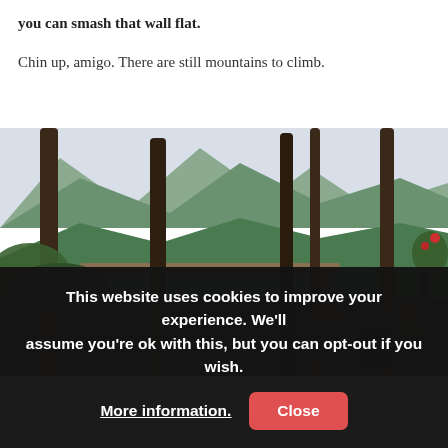you can smash that wall flat.
Chin up, amigo. There are still mountains to climb.
[Figure (photo): Outdoor terrace or cafe with wooden pillars, looking out over a river and mountains. People relaxing at tables in the foreground on the right side, lush green vegetation and a bridge visible in the background.]
This website uses cookies to improve your experience. We'll assume you're ok with this, but you can opt-out if you wish. More information. Close